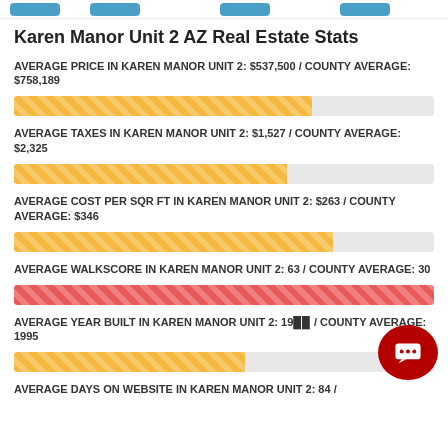Karen Manor Unit 2 AZ Real Estate Stats
AVERAGE PRICE IN KAREN MANOR UNIT 2: $537,500 / COUNTY AVERAGE: $758,189
[Figure (bar-chart): Average Price]
AVERAGE TAXES IN KAREN MANOR UNIT 2: $1,527 / COUNTY AVERAGE: $2,325
[Figure (bar-chart): Average Taxes]
AVERAGE COST PER SQR FT IN KAREN MANOR UNIT 2: $263 / COUNTY AVERAGE: $346
[Figure (bar-chart): Average Cost Per Sqr Ft]
AVERAGE WALKSCORE IN KAREN MANOR UNIT 2: 63 / COUNTY AVERAGE: 30
[Figure (bar-chart): Average Walkscore]
AVERAGE YEAR BUILT IN KAREN MANOR UNIT 2: 19__ / COUNTY AVERAGE: 1995
[Figure (bar-chart): Average Year Built]
AVERAGE DAYS ON WEBSITE IN KAREN MANOR UNIT 2: 84 /